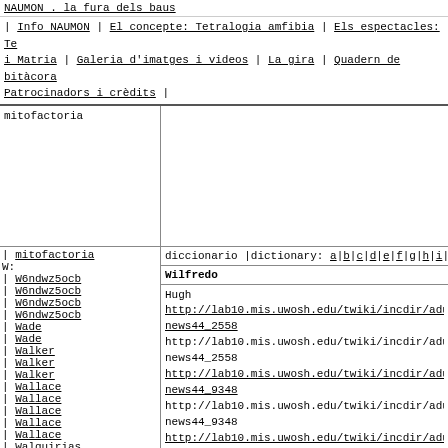NAUMON . la fura dels baus
| Info NAUMON | El concepte: Tetralogia amfibia | Els espectacles: Te i Matria | Galeria d'imatges i videos | La gira | Quadern de bitàcora Patrocinadors i crèdits |
mitofactoria
diccionario |dictionary: a|b|c|d|e|f|g|h|i|j|
Wilfredo
| mitofactoria
W:
| W6ndwz5ocb
| W6ndwz5ocb
| W6ndwz5ocb
| W6ndwz5ocb
| Wade
| Wade
| Walker
| Walker
| Walker
| Wallace
| Wallace
| Wallace
| Wallace
| Wallace
| Walquirias
| Walter
| Walter
| Walter
Hugh
http://lab10.mis.uwosh.edu/twiki/incdir/adult_news44_2558
http://lab10.mis.uwosh.edu/twiki/incdir/adult_news44_2558
http://lab10.mis.uwosh.edu/twiki/incdir/adult_news44_9348
http://lab10.mis.uwosh.edu/twiki/incdir/adult_news44_9348
http://lab10.mis.uwosh.edu/twiki/incdir/adult_news44_3351
http://lab10.mis.uwosh.edu/twiki/incdir/adult_news44_3351
http://lab10.mis.uwosh.edu/twiki/incdir/adult